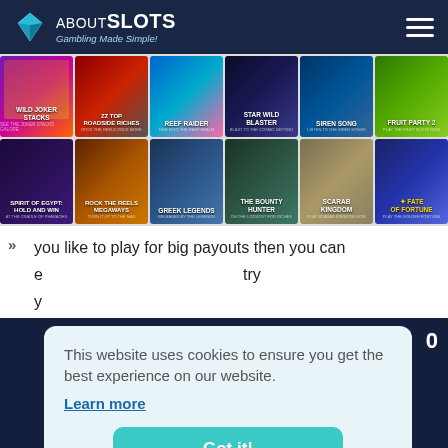ABOUTSLOTS - Gambling Made Simple!
[Figure (screenshot): Grid of slot game thumbnails in two rows: Wild Joker Stacks, ZZ Top Roadside Riches, Reef Raider, Star Wild Blaster, Siren Song, Fruit Party 2, Spirit of Egypt: Hold and Win, Rock The Reels Megaways, Greek Legends, The Bounty Hunter, Scarab Kingdom, Fate of Fortune]
you like to play for big payouts then you can e... try y...
This website uses cookies to ensure you get the best experience on our website.
Learn more
Got it!